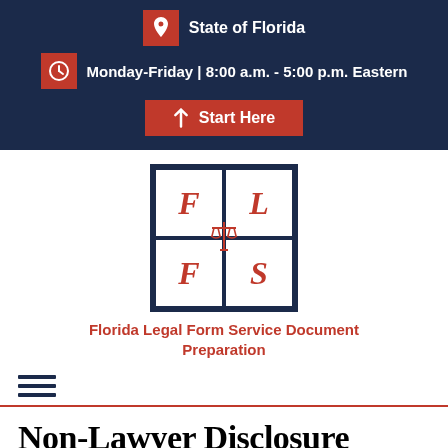State of Florida
Monday-Friday | 8:00 a.m. - 5:00 p.m. Eastern
Start Here
[Figure (logo): Florida Legal Form Service logo: dark navy blue bordered box divided into four quadrants with letters F, L, F, S in red italic serif font and a red scales of justice icon in the center]
Florida Legal Form Service Document Preparation
≡ (hamburger menu icon)
Non-Lawyer Disclosure